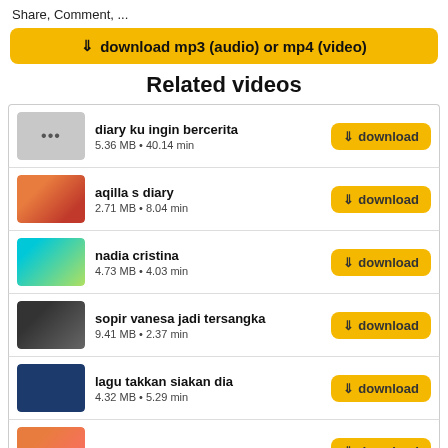Share, Comment, ...
⬇ download mp3 (audio) or mp4 (video)
Related videos
diary ku ingin bercerita
5.36 MB • 40.14 min
aqilla s diary
2.71 MB • 8.04 min
nadia cristina
4.73 MB • 4.03 min
sopir vanesa jadi tersangka
9.41 MB • 2.37 min
lagu takkan siakan dia
4.32 MB • 5.29 min
(partial)